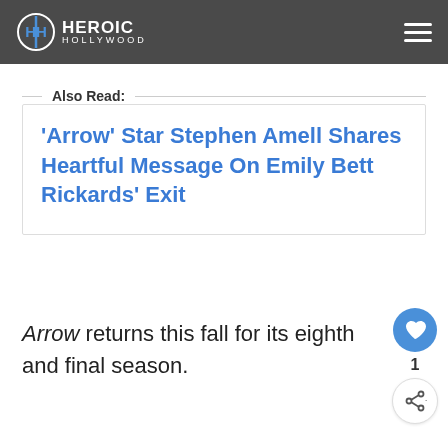Heroic Hollywood
Also Read:
'Arrow' Star Stephen Amell Shares Heartful Message On Emily Bett Rickards' Exit
Arrow returns this fall for its eighth and final season.